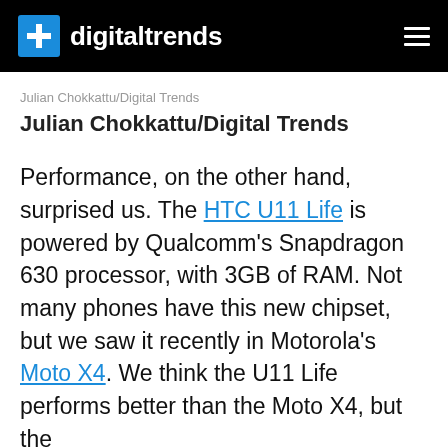digitaltrends
Julian Chokkattu/Digital Trends
Julian Chokkattu/Digital Trends
Performance, on the other hand, surprised us. The HTC U11 Life is powered by Qualcomm's Snapdragon 630 processor, with 3GB of RAM. Not many phones have this new chipset, but we saw it recently in Motorola's Moto X4. We think the U11 Life performs better than the Moto X4, but the